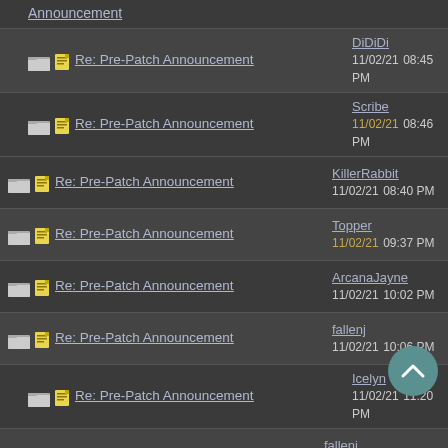Announcement (partial top)
Re: Pre-Patch Announcement — DiDiDi — 11/02/21 08:45 PM
Re: Pre-Patch Announcement — Scribe — 11/02/21 08:46 PM
Re: Pre-Patch Announcement — KillerRabbit — 11/02/21 08:40 PM
Re: Pre-Patch Announcement — Topper — 11/02/21 09:37 PM
Re: Pre-Patch Announcement — ArcanaJayne — 11/02/21 10:02 PM
Re: Pre-Patch Announcement — fallenj — 11/02/21 10:06 PM
Re: Pre-Patch Announcement — Icelyn — 11/02/21 11:20 PM
Re: Pre-Patch Announcement — fallenj — 11/02/21 11:32 PM
Re: Pre-Patch Announcement — Roethen — 12/02/21 07:31 PM